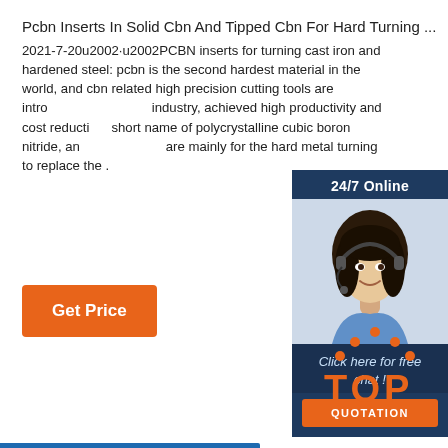Pcbn Inserts In Solid Cbn And Tipped Cbn For Hard Turning ...
2021-7-20u2002·u2002PCBN inserts for turning cast iron and hardened steel: pcbn is the second hardest material in the world, and cbn related high precision cutting tools are introduced to industry, achieved high productivity and cost reduction. pcbn is short name of polycrystalline cubic boron nitride, and pcbn inserts are mainly for the hard metal turning to replace the .
[Figure (other): Chat widget with '24/7 Online' header, photo of woman with headset smiling, 'Click here for free chat!' text, and orange QUOTATION button]
Get Price
[Figure (logo): Orange TOP logo with dot pattern above the letters TOP]